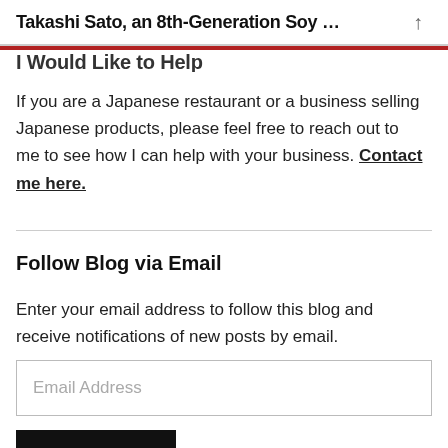Takashi Sato, an 8th-Generation Soy ...
I Would Like to Help
If you are a Japanese restaurant or a business selling Japanese products, please feel free to reach out to me to see how I can help with your business. Contact me here.
Follow Blog via Email
Enter your email address to follow this blog and receive notifications of new posts by email.
Email Address
FOLLOW